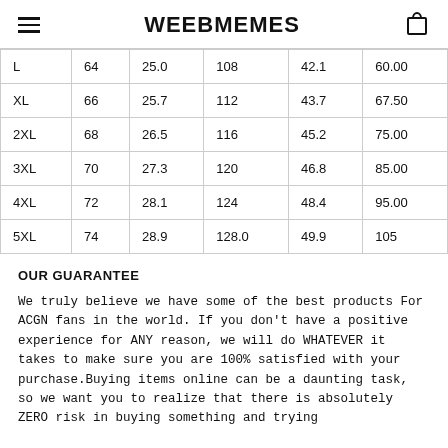WEEBMEMES
| L | 64 | 25.0 | 108 | 42.1 | 60.00 |
| XL | 66 | 25.7 | 112 | 43.7 | 67.50 |
| 2XL | 68 | 26.5 | 116 | 45.2 | 75.00 |
| 3XL | 70 | 27.3 | 120 | 46.8 | 85.00 |
| 4XL | 72 | 28.1 | 124 | 48.4 | 95.00 |
| 5XL | 74 | 28.9 | 128.0 | 49.9 | 105 |
OUR GUARANTEE
We truly believe we have some of the best products For ACGN fans in the world. If you don't have a positive experience for ANY reason, we will do WHATEVER it takes to make sure you are 100% satisfied with your purchase.Buying items online can be a daunting task, so we want you to realize that there is absolutely ZERO risk in buying something and trying